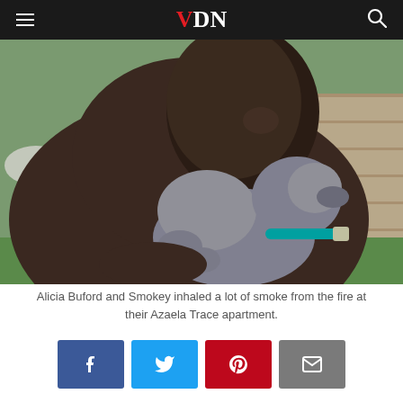VDN
[Figure (photo): A person holding a gray puppy with a teal collar close to their face, outdoors with greenery and a stone wall in the background.]
Alicia Buford and Smokey inhaled a lot of smoke from the fire at their Azaela Trace apartment.
[Figure (infographic): Social sharing buttons: Facebook (blue), Twitter (light blue), Pinterest (red), Email (gray)]